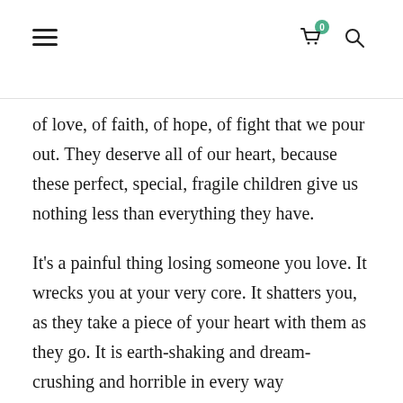Navigation header with hamburger menu, cart (0), and search icons
of love, of faith, of hope, of fight that we pour out. They deserve all of our heart, because these perfect, special, fragile children give us nothing less than everything they have.
It's a painful thing losing someone you love. It wrecks you at your very core. It shatters you, as they take a piece of your heart with them as they go. It is earth-shaking and dream-crushing and horrible in every way imaginable.
And it is worth every single second— every beat of their heart, every whispered prayer, every ounce of love given, every time you held their